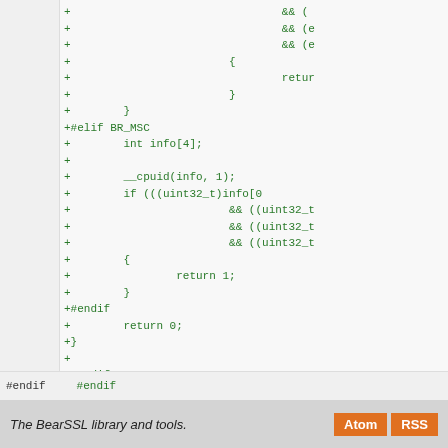[Figure (screenshot): Code diff view showing added lines (prefixed with +) in green monospace font. Contains C preprocessor and C code including #elif BR_MSC, int info[4], __cpuid(info, 1), conditional if statements with uint32_t casts, return statements, #endif directives, and a comment line with equals signs.]
#endif  #endif
The BearSSL library and tools.  Atom  RSS